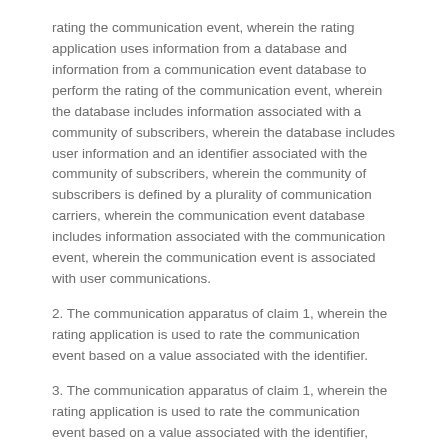rating the communication event, wherein the rating application uses information from a database and information from a communication event database to perform the rating of the communication event, wherein the database includes information associated with a community of subscribers, wherein the database includes user information and an identifier associated with the community of subscribers, wherein the community of subscribers is defined by a plurality of communication carriers, wherein the communication event database includes information associated with the communication event, wherein the communication event is associated with user communications.
2. The communication apparatus of claim 1, wherein the rating application is used to rate the communication event based on a value associated with the identifier.
3. The communication apparatus of claim 1, wherein the rating application is used to rate the communication event based on a value associated with the identifier, wherein the value represents a community rating associated with a